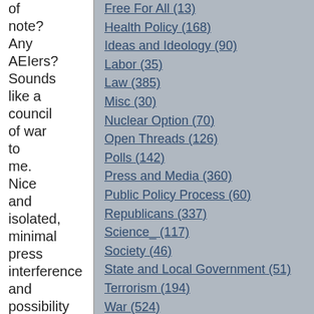of note? Any AEIers? Sounds like a council of war to me. Nice and isolated, minimal press interference and possibility of operational security planning breach.
Free For All (13)
Health Policy (168)
Ideas and Ideology (90)
Labor (35)
Law (385)
Misc (30)
Nuclear Option (70)
Open Threads (126)
Polls (142)
Press and Media (360)
Public Policy Process (60)
Republicans (337)
Science_ (117)
Society (46)
State and Local Government (51)
Terrorism (194)
War (524)
ARCHIVES
March 2008